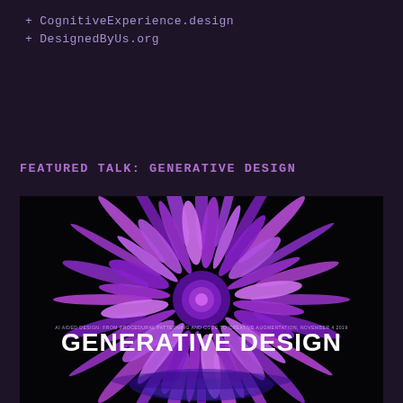+ CognitiveExperience.design
+ DesignedByUs.org
FEATURED TALK: GENERATIVE DESIGN
[Figure (illustration): A dark background with a large abstract generative art piece featuring purple/violet sharp spiked shapes radiating from a central point, resembling an exploding flower or crystal structure. Text overlaid reads 'GENERATIVE DESIGN' in large white bold letters, with smaller subtitle text above reading 'AI AIDED DESIGN: FROM PROCEDURAL PATTERNING AND CODE TO CREATIVE AUGMENTATION, NOVEMBER 4 2019'.]